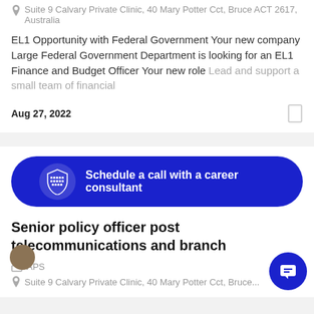Suite 9 Calvary Private Clinic, 40 Mary Potter Cct, Bruce ACT 2617, Australia
EL1 Opportunity with Federal Government Your new company Large Federal Government Department is looking for an EL1 Finance and Budget Officer Your new role Lead and support a small team of financial
Aug 27, 2022
Schedule a call with a career consultant
Senior policy officer post telecommunications and branch
APS
Suite 9 Calvary Private Clinic, 40 Mary Potter Cct, Bruce...